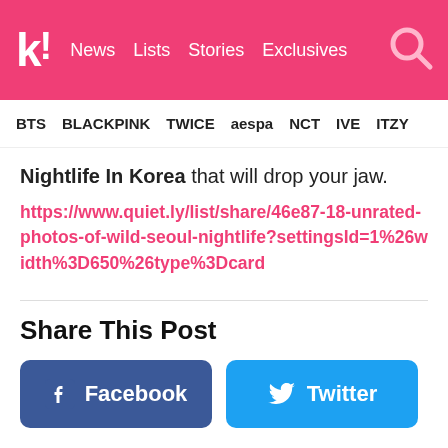k! News Lists Stories Exclusives
BTS BLACKPINK TWICE aespa NCT IVE ITZY
Nightlife In Korea that will drop your jaw.
https://www.quiet.ly/list/share/46e87-18-unrated-photos-of-wild-seoul-nightlife?settingsId=1%26width%3D650%26type%3Dcard
Share This Post
Facebook
Twitter